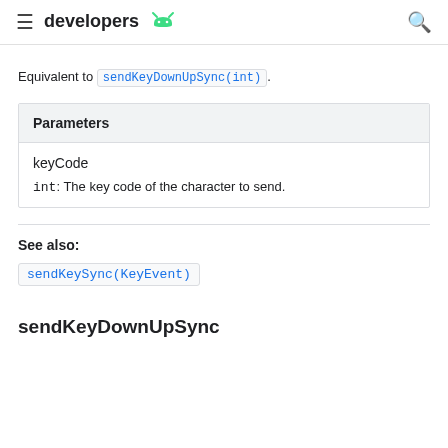developers
Equivalent to sendKeyDownUpSync(int).
| Parameters |
| --- |
| keyCode |
| int: The key code of the character to send. |
See also:
sendKeySync(KeyEvent)
sendKeyDownUpSync